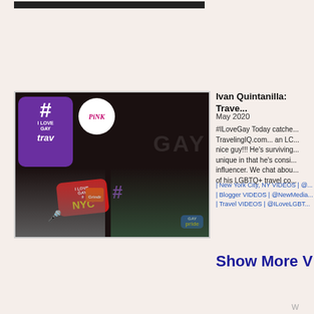[Figure (screenshot): Dark horizontal bar at top of page, partial UI element]
[Figure (screenshot): Video thumbnail showing two men in a video call setup with I Love Gay NYC branding, hashtag graphics, Pink logo, and Gay Pride sticker]
Ivan Quintanilla: Trave...
May 2020
#ILoveGay Today catche... TravelingIQ.com... an LC... nice guy!!! He's surviving... unique in that he's consi... influencer. We chat abou... of his LGBTQ+ travel co...
| New York City, NY VIDEOS | @... | Blogger VIDEOS | @NewMedia... | Travel VIDEOS | @ILoveLGBT...
Show More V
W